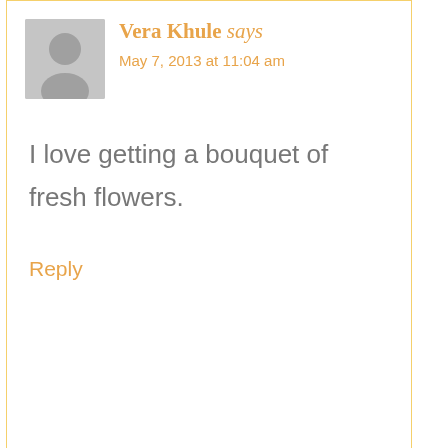Vera Khule says
May 7, 2013 at 11:04 am
I love getting a bouquet of fresh flowers.
Reply
Samantha [Moody Mama] says
May 7, 2013 at 11:29 am